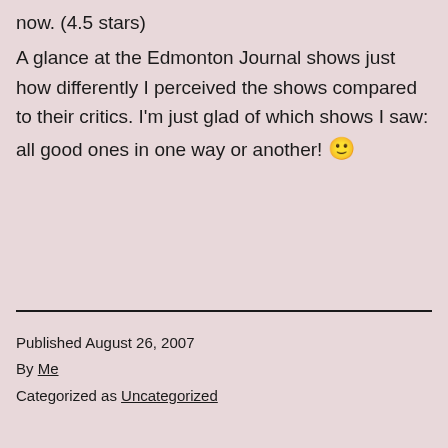now. (4.5 stars)
A glance at the Edmonton Journal shows just how differently I perceived the shows compared to their critics. I'm just glad of which shows I saw: all good ones in one way or another! 🙂
Published August 26, 2007
By Me
Categorized as Uncategorized